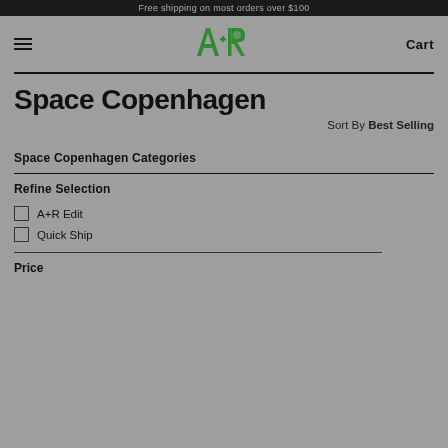Free shipping on most orders over $100
[Figure (logo): A+R logo in green with stylized letters]
Cart
Space Copenhagen
Sort By Best Selling
Space Copenhagen Categories
Refine Selection
A+R Edit
Quick Ship
Price